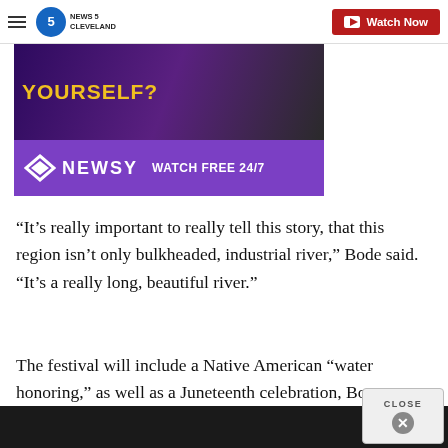News 5 Cleveland — Watch Now
[Figure (screenshot): Advertisement banner: 'YOURSELF?' text over purple background with performer image, and Newsy logo with 'WATCH FREE 24/7']
“It’s really important to really tell this story, that this region isn’t only bulkheaded, industrial river,” Bode said. “It’s a really long, beautiful river.”
The festival will include a Native American “water honoring,” as well as a Juneteenth celebration, Bo…